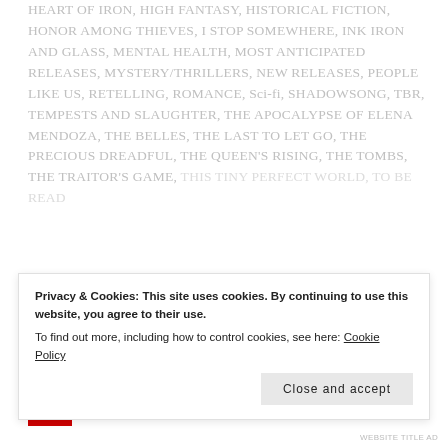HEART OF IRON, HIGH FANTASY, HISTORICAL FICTION, HONOR AMONG THIEVES, I STOP SOMEWHERE, INK IRON AND GLASS, MENTAL HEALTH, MOST ANTICIPATED RELEASES, MYSTERY/THRILLERS, NEW RELEASES, PEOPLE LIKE US, RETELLING, ROMANCE, Sci-fi, SHADOWSONG, TBR, TEMPESTS AND SLAUGHTER, THE APOCALYPSE OF ELENA MENDOZA, THE BELLES, THE LAST TO LET GO, THE PRECIOUS DREADFUL, THE QUEEN'S RISING, THE TOMBS, THE TRAITOR'S GAME, THIS TINY PERFECT WORLD, TO BE READ...
Privacy & Cookies: This site uses cookies. By continuing to use this website, you agree to their use.
To find out more, including how to control cookies, see here: Cookie Policy
Close and accept
WEBSITE TITLE AD